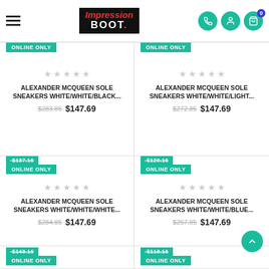Impression BOOT.
ONLINE ONLY
ONLINE ONLY
ALEXANDER Mcqueen Sole SNEAKERS WHITE/WHITE/BLACK...
ALEXANDER Mcqueen Sole SNEAKERS WHITE/WHITE/LIGHT...
$283.85  $147.69
$272.85  $147.69
-$137.16 ONLINE ONLY
-$120.16 ONLINE ONLY
ALEXANDER Mcqueen Sole SNEAKERS WHITE/WHITE/WHITE...
ALEXANDER Mcqueen Sole SNEAKERS WHITE/WHITE/BLUE...
$284.85  $147.69
$267.85  $147.69
-$143.16 ONLINE ONLY
-$118.16 ONLINE ONLY